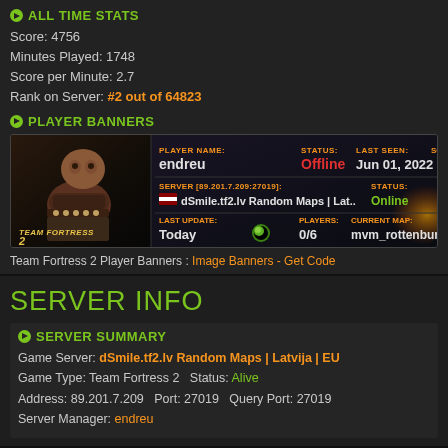ALL TIME STATS
Score: 4756
Minutes Played: 1748
Score per Minute: 2.7
Rank on Server: #2 out of 64823
PLAYER BANNERS
[Figure (screenshot): Team Fortress 2 player banner showing player 'endreu', status Offline, last seen Jun 01, 2022. Server: dSmile.tf2.lv Random Maps | Lat.. Online. Last Update: Today, Players: 0/6, Current Map: mvm_rottenburg_ad...]
Team Fortress 2 Player Banners : Image Banners - Get Code
SERVER INFO
SERVER SUMMARY
Game Server: dSmile.tf2.lv Random Maps | Latvija | EU
Game Type: Team Fortress 2   Status: Alive
Address: 89.201.7.209   Port: 27019   Query Port: 27019
Server Manager: endreu
ADVERTISEMENT